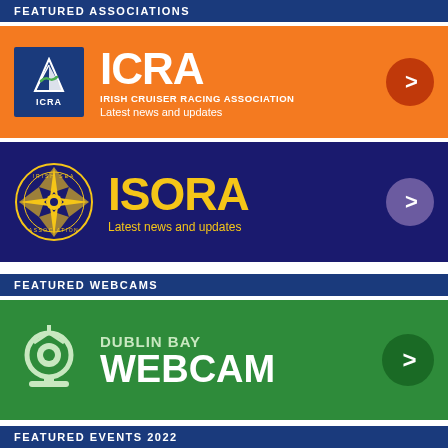FEATURED ASSOCIATIONS
[Figure (logo): ICRA banner - orange background, ICRA logo on blue box with sailing boat icon, large white text ICRA, Irish Cruiser Racing Association, Latest news and updates, red arrow circle]
[Figure (logo): ISORA banner - dark blue background, compass star logo, large yellow text ISORA, Latest news and updates, purple arrow circle]
FEATURED WEBCAMS
[Figure (logo): Dublin Bay Webcam banner - green background, webcam icon, DUBLIN BAY WEBCAM text, dark green arrow circle]
FEATURED EVENTS 2022